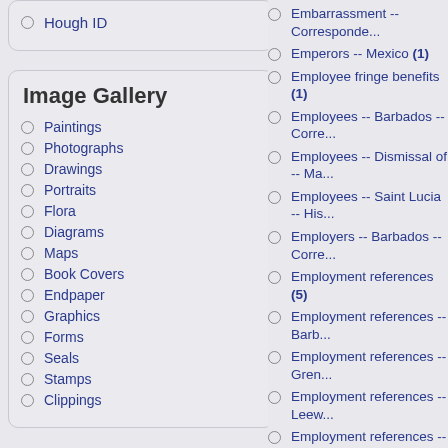Hough ID
Image Gallery
Paintings
Photographs
Drawings
Portraits
Flora
Diagrams
Maps
Book Covers
Endpaper
Graphics
Forms
Seals
Stamps
Clippings
Embarrassment -- Corresponde...
Emperors -- Mexico (1)
Employee fringe benefits (1)
Employees -- Barbados -- Corre...
Employees -- Dismissal of -- Ma...
Employees -- Saint Lucia -- His...
Employers -- Barbados -- Corre...
Employment references (5)
Employment references -- Barb...
Employment references -- Gren...
Employment references -- Leew...
Employment references -- Mons...
Encumbrances (Law) (4)
Encumbrances (Law) -- Antigua...
Encumbrances (Law) -- Jamaic...
Endowment reports -- Martiniqui...
Engineers -- Barbados (2)
England -- Chatham (1)
England -- Colonies -- Administ...